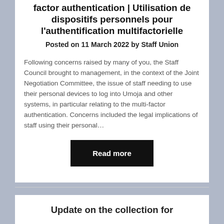factor authentication | Utilisation de dispositifs personnels pour l'authentification multifactorielle
Posted on 11 March 2022 by Staff Union
Following concerns raised by many of you, the Staff Council brought to management, in the context of the Joint Negotiation Committee, the issue of staff needing to use their personal devices to log into Umoja and other systems, in particular relating to the multi-factor authentication. Concerns included the legal implications of staff using their personal…
Read more
Update on the collection for